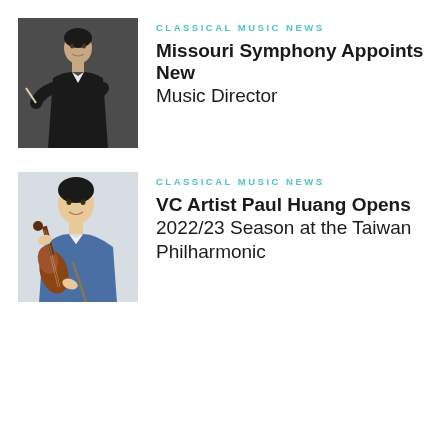[Figure (photo): Man in black suit holding a conductor's baton, arms crossed, against a dark background]
CLASSICAL MUSIC NEWS
Missouri Symphony Appoints New Music Director
[Figure (photo): Young Asian man holding a violin, wearing a blue jacket, against a light background]
CLASSICAL MUSIC NEWS
VC Artist Paul Huang Opens 2022/23 Season at the Taiwan Philharmonic